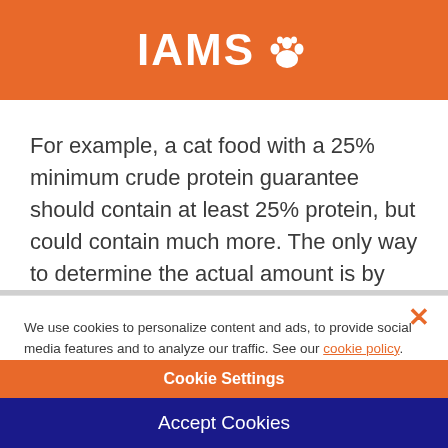[Figure (logo): IAMS brand logo in white text on orange background with paw print icon]
For example, a cat food with a 25% minimum crude protein guarantee should contain at least 25% protein, but could contain much more. The only way to determine the actual amount is by laboratory analysis.
We use cookies to personalize content and ads, to provide social media features and to analyze our traffic. See our cookie policy. You can use cookie settings to change your preferences.
Cookie Settings
Accept Cookies